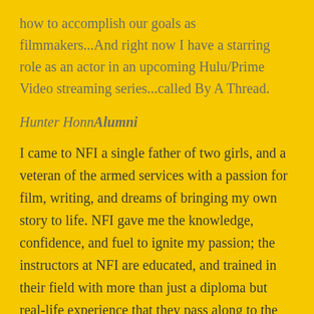how to accomplish our goals as filmmakers...And right now I have a starring role as an actor in an upcoming Hulu/Prime Video streaming series...called By A Thread.
Hunter HonnAlumni
I came to NFI a single father of two girls, and a veteran of the armed services with a passion for film, writing, and dreams of bringing my own story to life. NFI gave me the knowledge, confidence, and fuel to ignite my passion; the instructors at NFI are educated, and trained in their field with more than just a diploma but real-life experience that they pass along to the students. The staff is hands on, personable, and friendly. I graduated from NFI with more than just a